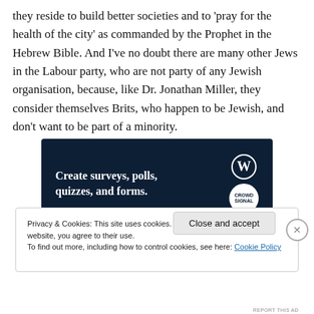they reside to build better societies and to 'pray for the health of the city' as commanded by the Prophet in the Hebrew Bible. And I've no doubt there are many other Jews in the Labour party, who are not party of any Jewish organisation, because, like Dr. Jonathan Miller, they consider themselves Brits, who happen to be Jewish, and don't want to be part of a minority.
[Figure (other): Advertisement banner: dark navy background with text 'Create surveys, polls, quizzes, and forms.' with WordPress and Crowdsignal logos]
Privacy & Cookies: This site uses cookies. By continuing to use this website, you agree to their use.
To find out more, including how to control cookies, see here: Cookie Policy
Close and accept